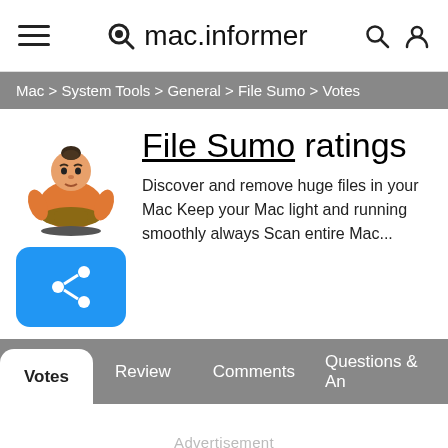mac.informer
Mac > System Tools > General > File Sumo > Votes
File Sumo ratings
Discover and remove huge files in your Mac Keep your Mac light and running smoothly always Scan entire Mac...
Votes | Review | Comments | Questions & Answers
Advertisement